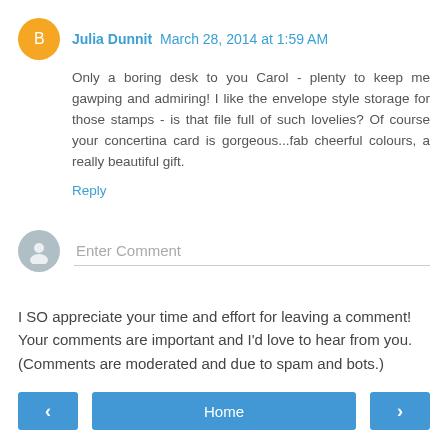Julia Dunnit March 28, 2014 at 1:59 AM
Only a boring desk to you Carol - plenty to keep me gawping and admiring! I like the envelope style storage for those stamps - is that file full of such lovelies? Of course your concertina card is gorgeous...fab cheerful colours, a really beautiful gift.
Reply
Enter Comment
I SO appreciate your time and effort for leaving a comment! Your comments are important and I'd love to hear from you. (Comments are moderated and due to spam and bots.)
< Home >